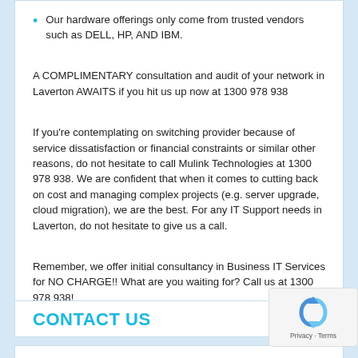Our hardware offerings only come from trusted vendors such as DELL, HP, AND IBM.
A COMPLIMENTARY consultation and audit of your network in Laverton AWAITS if you hit us up now at 1300 978 938
If you're contemplating on switching provider because of service dissatisfaction or financial constraints or similar other reasons, do not hesitate to call Mulink Technologies at 1300 978 938. We are confident that when it comes to cutting back on cost and managing complex projects (e.g. server upgrade, cloud migration), we are the best. For any IT Support needs in Laverton, do not hesitate to give us a call.
Remember, we offer initial consultancy in Business IT Services for NO CHARGE!! What are you waiting for? Call us at 1300 978 938!
CONTACT US